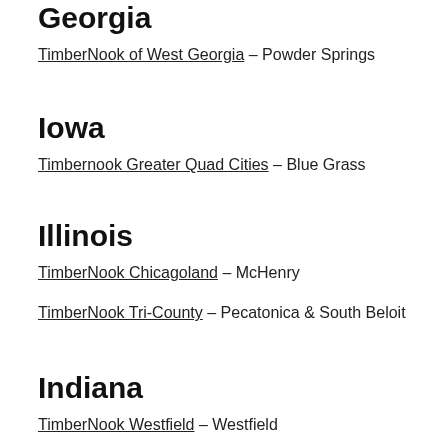Georgia
TimberNook of West Georgia – Powder Springs
Iowa
Timbernook Greater Quad Cities – Blue Grass
Illinois
TimberNook Chicagoland – McHenry
TimberNook Tri-County – Pecatonica & South Beloit
Indiana
TimberNook Westfield – Westfield